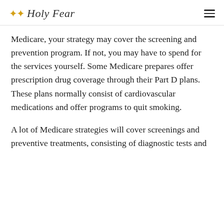Holy Fear
Medicare, your strategy may cover the screening and prevention program. If not, you may have to spend for the services yourself. Some Medicare prepares offer prescription drug coverage through their Part D plans. These plans normally consist of cardiovascular medications and offer programs to quit smoking.
A lot of Medicare strategies will cover screenings and preventive treatments, consisting of diagnostic tests and